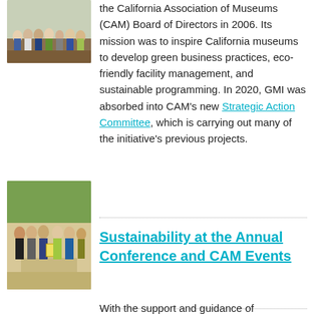[Figure (photo): Group photo of people outdoors, likely a community or museum event]
the California Association of Museums (CAM) Board of Directors in 2006. Its mission was to inspire California museums to develop green business practices, eco-friendly facility management, and sustainable programming. In 2020, GMI was absorbed into CAM's new Strategic Action Committee, which is carrying out many of the initiative's previous projects.
[Figure (photo): Group of people standing together outdoors, holding an award or certificate]
Sustainability at the Annual Conference and CAM Events
With the support and guidance of